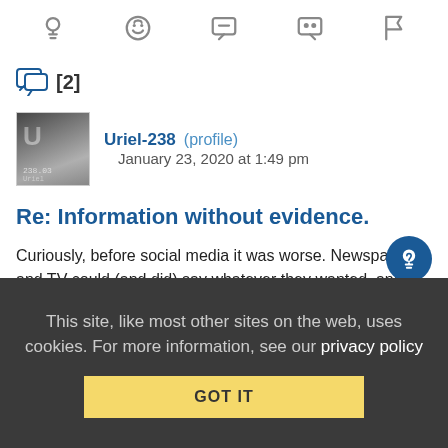[toolbar icons: lightbulb, emoji, quote-bubble, quote-bubble, flag]
[2]
Uriel-238 (profile)   January 23, 2020 at 1:49 pm
Re: Information without evidence.
Curiously, before social media it was worse. Newspapers and TV could (and did) say whatever they wanted, and ghosts, Satan, the Loch Ness Monster, Alien UFOs (not to be confused with things we never actually identify but are probably normal)
This site, like most other sites on the web, uses cookies. For more information, see our privacy policy
GOT IT